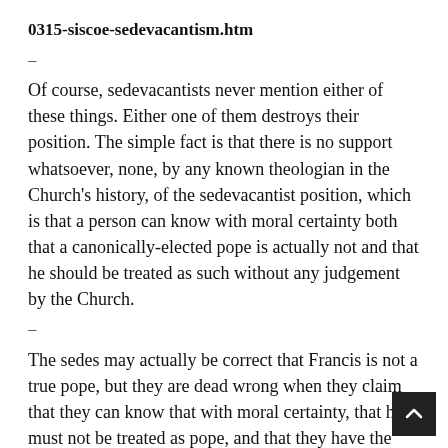0315-siscoe-sedevacantism.htm
–
Of course, sedevacantists never mention either of these things. Either one of them destroys their position. The simple fact is that there is no support whatsoever, none, by any known theologian in the Church's history, of the sedevacantist position, which is that a person can know with moral certainty both that a canonically-elected pope is actually not and that he should be treated as such without any judgement by the Church.
–
The sedes may actually be correct that Francis is not a true pope, but they are dead wrong when they claim that they can know that with moral certainty, that he must not be treated as pope, and that they have the authority to condemn others who do.
–
“Does anyone visiting this site really want to dare to say that the Holy Ghost gave us VII, the Novus Ordo, the Assisi scandals, the child abuse scandals, the clown…